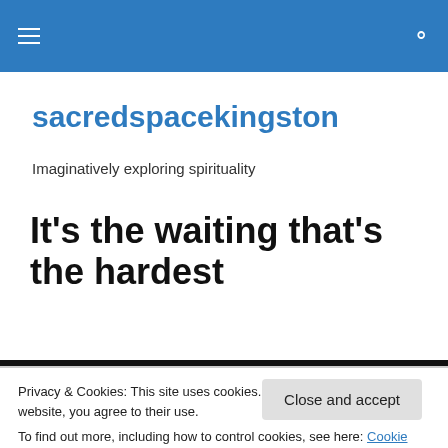sacredspacekingston — navigation and search bar
sacredspacekingston
Imaginatively exploring spirituality
It’s the waiting that’s the hardest
Privacy & Cookies: This site uses cookies. By continuing to use this website, you agree to their use.
To find out more, including how to control cookies, see here: Cookie Policy
Close and accept